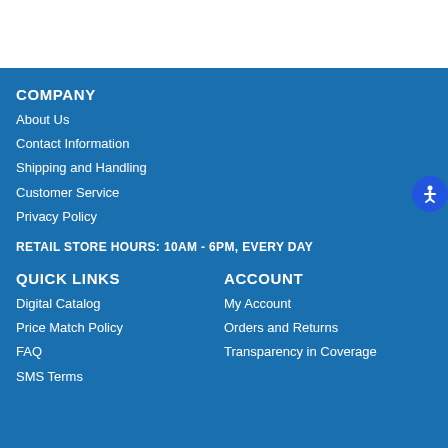COMPANY
About Us
Contact Information
Shipping and Handling
Customer Service
Privacy Policy
RETAIL STORE HOURS: 10AM - 6PM, EVERY DAY
QUICK LINKS
ACCOUNT
Digital Catalog
My Account
Price Match Policy
Orders and Returns
FAQ
Transparency in Coverage
SMS Terms